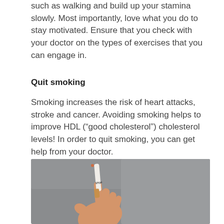such as walking and build up your stamina slowly. Most importantly, love what you do to stay motivated. Ensure that you check with your doctor on the types of exercises that you can engage in.
Quit smoking
Smoking increases the risk of heart attacks, stroke and cancer. Avoiding smoking helps to improve HDL (“good cholesterol”) cholesterol levels! In order to quit smoking, you can get help from your doctor.
[Figure (photo): A hand holding a cigarette with the word STOP written on it, against a gray background.]